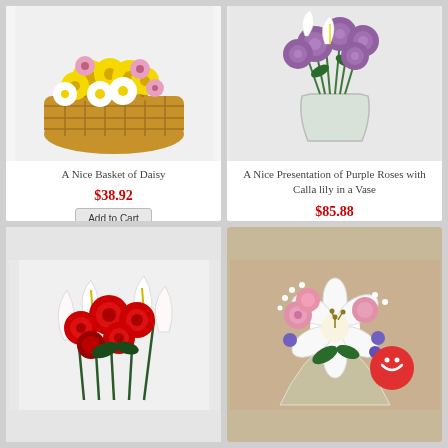[Figure (photo): A basket arrangement of yellow daisies, pink daisies, and white daisies with a butterfly decoration in a wicker basket]
A Nice Basket of Daisy
$38.92
Add to Cart
[Figure (photo): A vase arrangement of purple roses and white calla lilies in a clear glass vase]
A Nice Presentation of Purple Roses with Calla lily in a Vase
$85.88
Add to Cart
[Figure (photo): A bouquet of red roses and white calla lilies]
[Figure (photo): A mixed flower bouquet with white lily, pink roses, purple flowers and baby's breath wrapped in cellophane with a red chat bubble icon overlay]